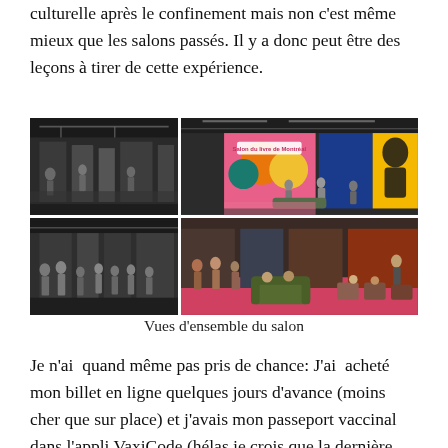culturelle après le confinement mais non c'est même mieux que les salons passés. Il y a donc peut être des leçons à tirer de cette expérience.
[Figure (photo): Four photos arranged in a 2x2 grid showing interior views of the Salon du livre de Montréal book fair, with visitors browsing and colorful signage.]
Vues d'ensemble du salon
Je n'ai  quand même pas pris de chance: J'ai  acheté mon billet en ligne quelques jours d'avance (moins cher que sur place) et j'avais mon passeport vaccinal dans l'appli VaxiCode (hélas je crois que la dernière mise à jour de mon téléphone a effacer l'information car mes